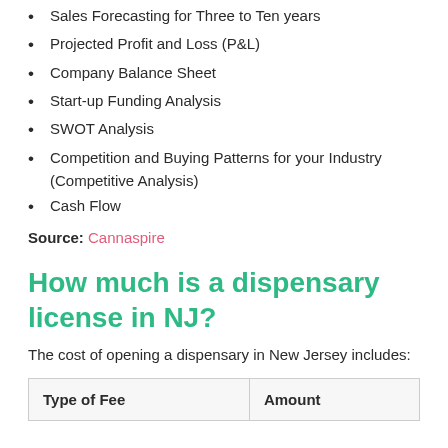Sales Forecasting for Three to Ten years
Projected Profit and Loss (P&L)
Company Balance Sheet
Start-up Funding Analysis
SWOT Analysis
Competition and Buying Patterns for your Industry (Competitive Analysis)
Cash Flow
Source: Cannaspire
How much is a dispensary license in NJ?
The cost of opening a dispensary in New Jersey includes:
| Type of Fee | Amount |
| --- | --- |